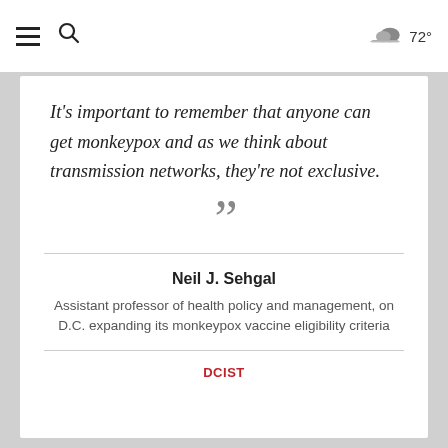☰ 🔍  72°
It's important to remember that anyone can get monkeypox and as we think about transmission networks, they're not exclusive.
Neil J. Sehgal
Assistant professor of health policy and management, on D.C. expanding its monkeypox vaccine eligibility criteria
DCIST